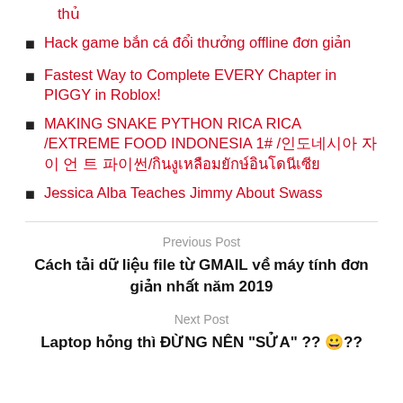thủ
Hack game bắn cá đổi thưởng offline đơn giản
Fastest Way to Complete EVERY Chapter in PIGGY in Roblox!
MAKING SNAKE PYTHON RICA RICA /EXTREME FOOD INDONESIA 1# /인도네시아 자이 언 트 파이썬/กินงูเหลือมยักษ์อินโดนีเซีย
Jessica Alba Teaches Jimmy About Swass
Previous Post
Cách tải dữ liệu file từ GMAIL về máy tính đơn giản nhất năm 2019
Next Post
Laptop hỏng thì ĐỪNG NÊN "SỬA" ?? 😀??